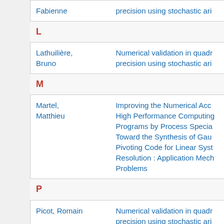| Name | Title |
| --- | --- |
| Fabienne | precision using stochastic ari... |
| L |  |
| Lathuilière, Bruno | Numerical validation in quadr... precision using stochastic ari... |
| M |  |
| Martel, Matthieu | Improving the Numerical Acc... High Performance Computing... Programs by Process Specia... Toward the Synthesis of Gau... Pivoting Code for Linear Syst... Resolution : Application Mech... Problems |
| P |  |
| Picot, Romain | Numerical validation in quadr... precision using stochastic ari... |
| S |  |